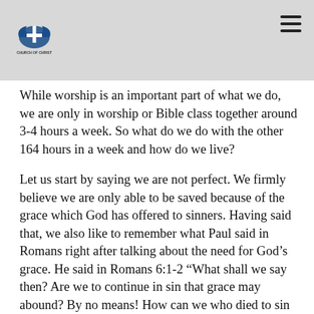Church logo and navigation
While worship is an important part of what we do, we are only in worship or Bible class together around 3-4 hours a week. So what do we do with the other 164 hours in a week and how do we live?
Let us start by saying we are not perfect. We firmly believe we are only able to be saved because of the grace which God has offered to sinners. Having said that, we also like to remember what Paul said in Romans right after talking about the need for God's grace. He said in Romans 6:1-2 “What shall we say then? Are we to continue in sin that grace may abound? By no means! How can we who died to sin still live in it?” We don’t believe the things we believe because they are easy, hard or somewhere in between. We believe these things because they are found in God’s words for us. The Church of